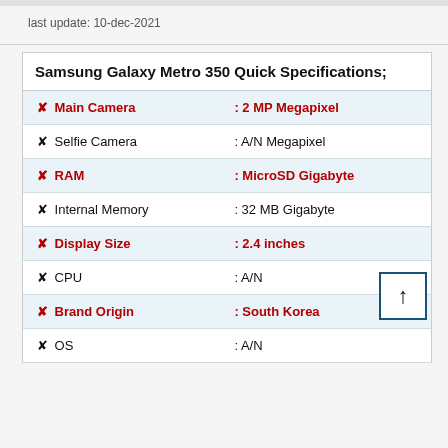last update: 10-dec-2021
| Samsung Galaxy Metro 350 Quick Specifications; |  |
| --- | --- |
| ✦ Main Camera | : 2 MP Megapixel |
| ✦ Selfie Camera | : A/N Megapixel |
| ✦ RAM | : MicroSD Gigabyte |
| ✦ Internal Memory | : 32 MB Gigabyte |
| ✦ Display Size | : 2.4 inches |
| ✦ CPU | : A/N |
| ✦ Brand Origin | : South Korea |
| ✦ OS | : A/N |